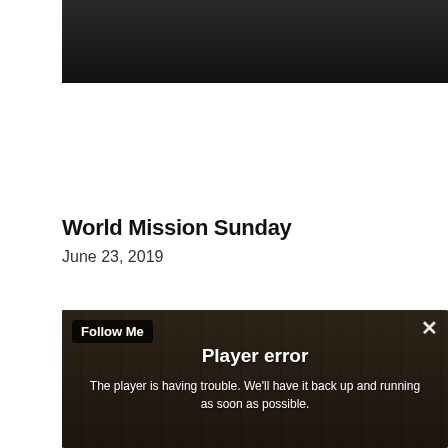[Figure (screenshot): Dark header image, top portion cropped, showing a dark background]
World Mission Sunday
June 23, 2019
[Figure (screenshot): Video player screenshot showing a church sanctuary with an altar, American flag and another flag on either side, a person standing at center, with an overlay showing 'Follow Me' label in top-left, an X close button in top-right, and a Player error message in the center reading: Player error — The player is having trouble. We'll have it back up and running as soon as possible.]